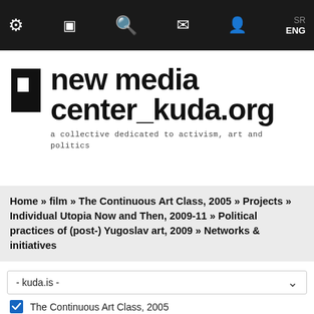Navigation bar with icons: settings, book, search, mail, user, language selector SR / ENG
new media center_kuda.org
a collective dedicated to activism, art and politics
Home » film » The Continuous Art Class, 2005 » Projects » Individual Utopia Now and Then, 2009-11 » Political practices of (post-) Yugoslav art, 2009 » Networks & initiatives
- kuda.is -
The Continuous Art Class, 2005
Individual Utopia Now and Then, 2009-11